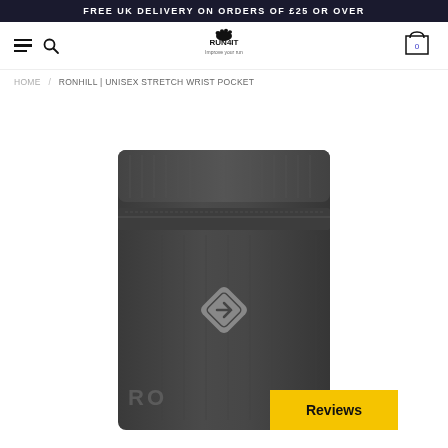FREE UK DELIVERY ON ORDERS OF £25 OR OVER
[Figure (logo): Run4It logo with footprint icon and tagline 'Improve your run']
HOME / RONHILL | UNISEX STRETCH WRIST POCKET
[Figure (photo): Close-up photo of a dark grey Ronhill Unisex Stretch Wrist Pocket product with the Ronhill logo visible]
Reviews